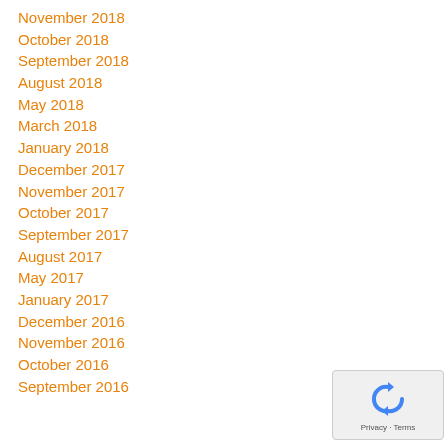November 2018
October 2018
September 2018
August 2018
May 2018
March 2018
January 2018
December 2017
November 2017
October 2017
September 2017
August 2017
May 2017
January 2017
December 2016
November 2016
October 2016
September 2016
[Figure (other): reCAPTCHA widget showing a recycling-arrows icon with 'Privacy - Terms' text]